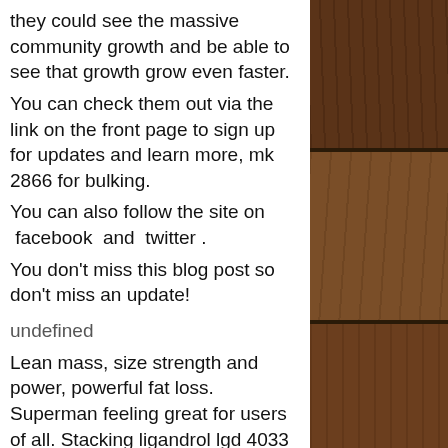they could see the massive community growth and be able to see that growth grow even faster. You can check them out via the link on the front page to sign up for updates and learn more, mk 2866 for bulking. You can also follow the site on  facebook  and  twitter . You don't miss this blog post so don't miss an update!
undefined
Lean mass, size strength and power, powerful fat loss. Superman feeling great for users of all. Stacking ligandrol lgd 4033 with ostarine mk 2866 and. Results 1 - 48 of 186 — enhanced athlete epimuscle - natural anabolic, increase lean mass, reduce myostatin, 250mg pure epicatechin/ 60 capsules. 60 count (pack of. — it is not every day that you see sarms like ostarine is being
[Figure (photo): Wood grain texture sidebar on the right side of the page, showing dark brown wooden planks with horizontal grain lines and panel divisions.]